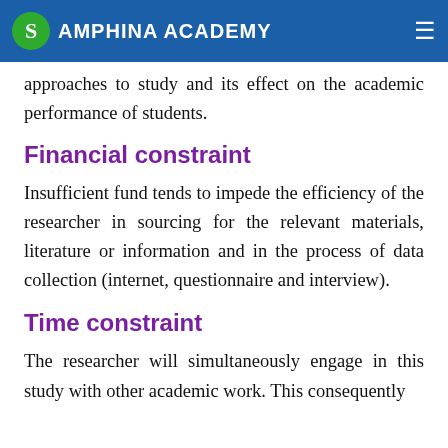AMPHINA ACADEMY
approaches to study and its effect on the academic performance of students.
Financial constraint
Insufficient fund tends to impede the efficiency of the researcher in sourcing for the relevant materials, literature or information and in the process of data collection (internet, questionnaire and interview).
Time constraint
The researcher will simultaneously engage in this study with other academic work. This consequently